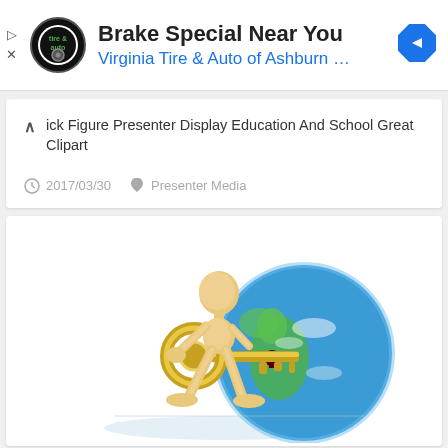[Figure (advertisement): Ad banner for Virginia Tire & Auto of Ashburn with logo, title 'Brake Special Near You', subtitle in blue, and a blue diamond navigation arrow icon]
ick Figure Presenter Display Education And School Great Clipart
2017/03/30   Presenter Media
[Figure (illustration): 3D golden stick figure character holding a large golden key inserting it into a blue Earth globe, with a reflection below]